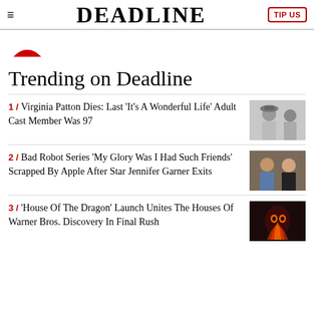≡  DEADLINE  TIP US
[Figure (photo): Partial red circle logo image cropped at top]
Trending on Deadline
1 / Virginia Patton Dies: Last 'It's A Wonderful Life' Adult Cast Member Was 97
2 / Bad Robot Series 'My Glory Was I Had Such Friends' Scrapped By Apple After Star Jennifer Garner Exits
3 / 'House Of The Dragon' Launch Unites The Houses Of Warner Bros. Discovery In Final Rush